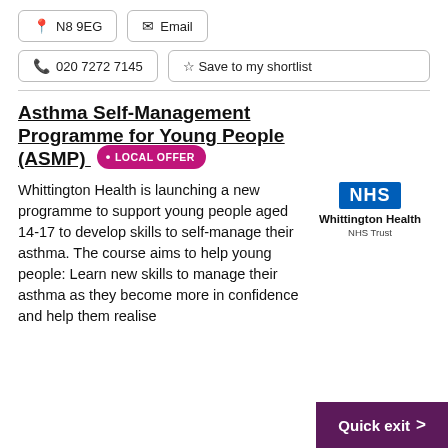📍 N8 9EG
✉ Email
📞 020 7272 7145
☆ Save to my shortlist
Asthma Self-Management Programme for Young People (ASMP) • LOCAL OFFER
Whittington Health is launching a new programme to support young people aged 14-17 to develop skills to self-manage their asthma. The course aims to help young people: Learn new skills to manage their asthma as they become more in confidence and help them realise
[Figure (logo): NHS Whittington Health NHS Trust logo — blue NHS badge with company name below]
Quick exit >